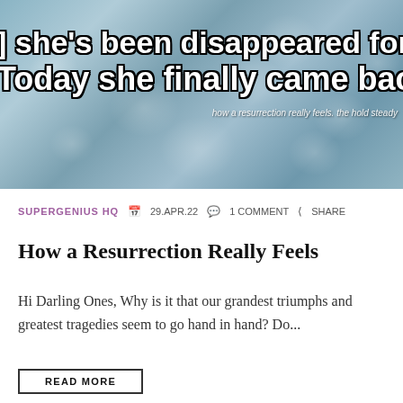[Figure (photo): Black and white / blue-tinted close-up photo of ice cubes with large bold white text overlaid: '] she's been disappeared for ye...' and 'Today she finally came back.' with smaller italic text reading 'how a resurrection really feels. the hold steady']
SUPERGENIUS HQ  📅 29.APR.22  💬 1 COMMENT  < SHARE
How a Resurrection Really Feels
Hi Darling Ones, Why is it that our grandest triumphs and greatest tragedies seem to go hand in hand? Do...
READ MORE